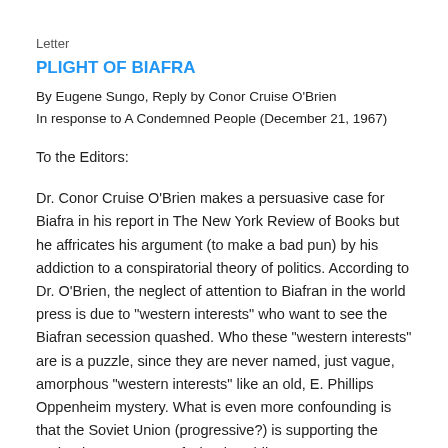Letter
PLIGHT OF BIAFRA
By Eugene Sungo, Reply by Conor Cruise O'Brien
In response to A Condemned People (December 21, 1967)
To the Editors:
Dr. Conor Cruise O'Brien makes a persuasive case for Biafra in his report in The New York Review of Books but he affricates his argument (to make a bad pun) by his addiction to a conspiratorial theory of politics. According to Dr. O'Brien, the neglect of attention to Biafran in the world press is due to "western interests" who want to see the Biafran secession quashed. Who these "western interests" are is a puzzle, since they are never named, just vague, amorphous "western interests" like an old, E. Phillips Oppenheim mystery. What is even more confounding is that the Soviet Union (progressive?) is supporting the Federal Government of Nigeria, while